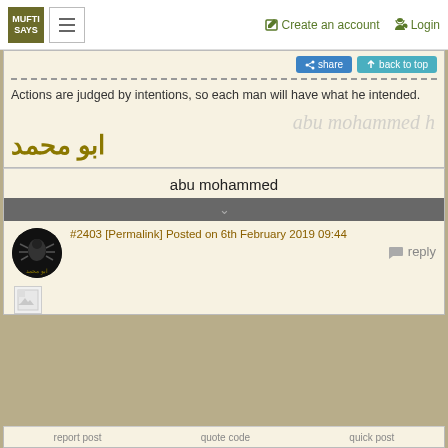MUFTI SAYS | ≡ | Create an account | Login
[Figure (screenshot): Share and Back to top buttons]
Actions are judged by intentions, so each man will have what he intended.
[Figure (illustration): Arabic signature: ابو محمد with cursive script watermark]
abu mohammed
[Figure (illustration): Down arrow icon on grey bar]
#2403 [Permalink] Posted on 6th February 2019 09:44
[Figure (illustration): Avatar image of abu mohammed]
reply
[Figure (illustration): Broken image placeholder]
report post | quote code | quick post